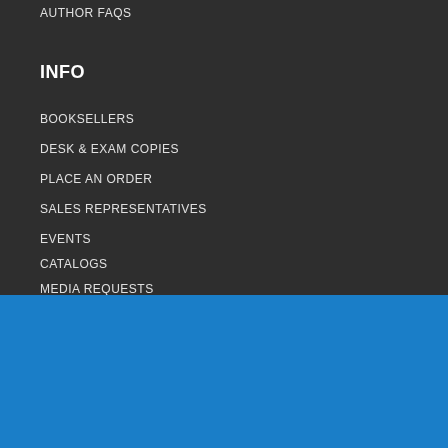AUTHOR FAQS
INFO
BOOKSELLERS
DESK & EXAM COPIES
PLACE AN ORDER
SALES REPRESENTATIVES
EVENTS
CATALOGS
MEDIA REQUESTS
FOLLOW US
WE USE COOKIES ON THIS SITE TO ENHANCE YOUR USER EXPERIENCE
By clicking any link on this page you are giving your consent for us to set cookies. More info
OK, I agree
Decline